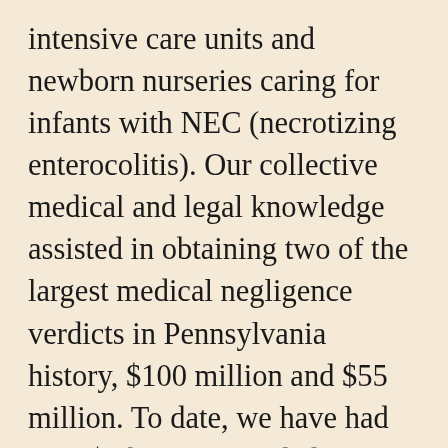intensive care units and newborn nurseries caring for infants with NEC (necrotizing enterocolitis). Our collective medical and legal knowledge assisted in obtaining two of the largest medical negligence verdicts in Pennsylvania history, $100 million and $55 million. To date, we have had over $2 billion awarded for our injured clients and victims of medical malpractice. Please